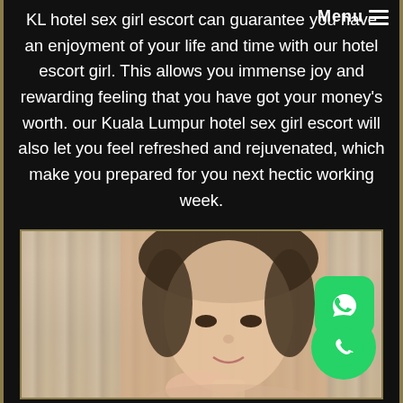Menu
KL hotel sex girl escort can guarantee you have an enjoyment of your life and time with our hotel escort girl. This allows you immense joy and rewarding feeling that you have got your money’s worth. our Kuala Lumpur hotel sex girl escort will also let you feel refreshed and rejuvenated, which make you prepared for you next hectic working week.
[Figure (photo): Photo of a young Asian woman with her hair up, smiling slightly at the camera, with a curtained background. WhatsApp and phone call buttons visible in the bottom-right corner.]